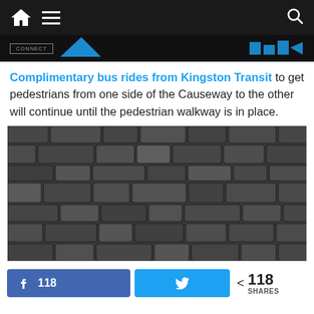Navigation bar with home, menu, and search icons
[Figure (screenshot): Partial banner/header strip showing a website header with logo box and blue graphic elements]
Complimentary bus rides from Kingston Transit to get pedestrians from one side of the Causeway to the other will continue until the pedestrian walkway is in place.
[Figure (photo): Photograph of a stone wall made of large irregular dark grey stones with mortar joints]
118 (Facebook share count) | Twitter share button | < 118 SHARES